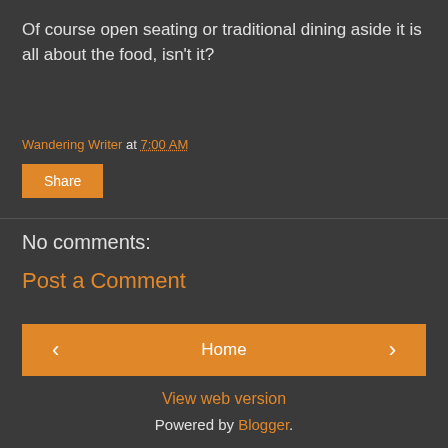Of course open seating or traditional dining aside it is all about the food, isn't it?
Wandering Writer at 7:00 AM
Share
No comments:
Post a Comment
Home
View web version
Powered by Blogger.